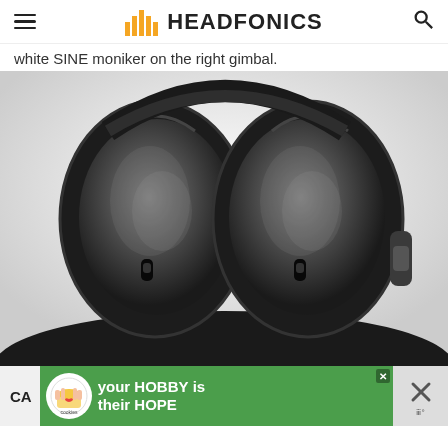HEADFONICS
white SINE moniker on the right gimbal.
[Figure (photo): Close-up photo of black over-ear headphone earcups viewed from the back, showing two large black leather-padded oval ear cups side by side with visible hinge mechanisms, resting on a dark surface against a white background.]
CA
[Figure (photo): Advertisement banner: green background with cookies for kids cancer logo (white circle with cookie and heart image), text 'your HOBBY is their HOPE' in white bold font, with a close X button and a right-side icon panel with crossed tools symbol.]